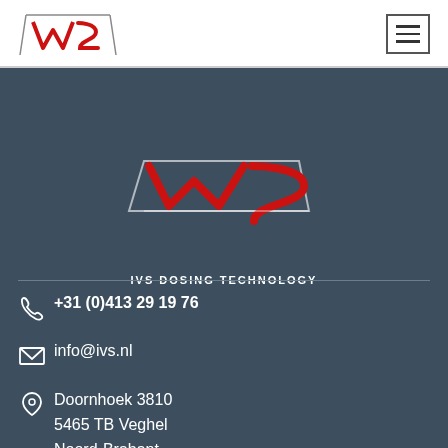[Figure (logo): IVS logo in top navigation bar, small version with red and grey diagonal lines]
[Figure (logo): IVS Dosing Technology large centered logo on dark background with red and white chevron design and text IVS DOSING TECHNOLOGY]
+31 (0)413 29 19 76
info@ivs.nl
Doornhoek 3810
5465 TB Veghel
Noord-Brabant
The Netherlands